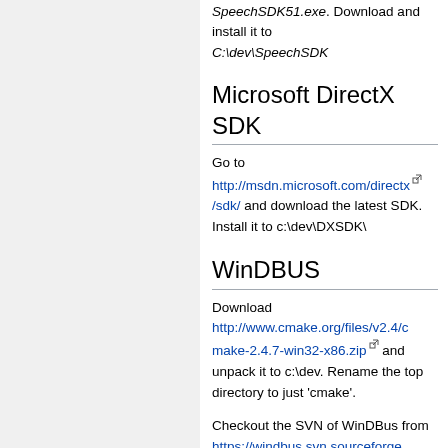SpeechSDK51.exe. Download and install it to C:\dev\SpeechSDK
Microsoft DirectX SDK
Go to http://msdn.microsoft.com/directx/sdk/ and download the latest SDK. Install it to c:\dev\DXSDK\
WinDBUS
Download http://www.cmake.org/files/v2.4/cmake-2.4.7-win32-x86.zip and unpack it to c:\dev. Rename the top directory to just 'cmake'.
Checkout the SVN of WinDBus from https://windbus.svn.sourceforge.